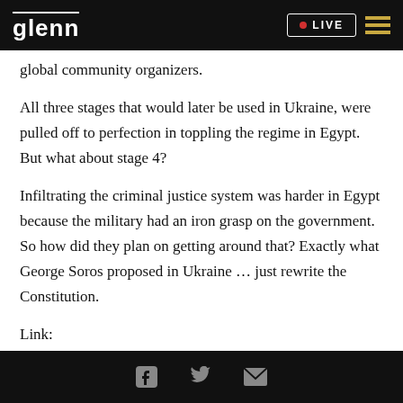glenn LIVE
global community organizers.
All three stages that would later be used in Ukraine, were pulled off to perfection in toppling the regime in Egypt. But what about stage 4?
Infiltrating the criminal justice system was harder in Egypt because the military had an iron grasp on the government. So how did they plan on getting around that? Exactly what George Soros proposed in Ukraine … just rewrite the Constitution.
Link:
Facebook Twitter Email icons